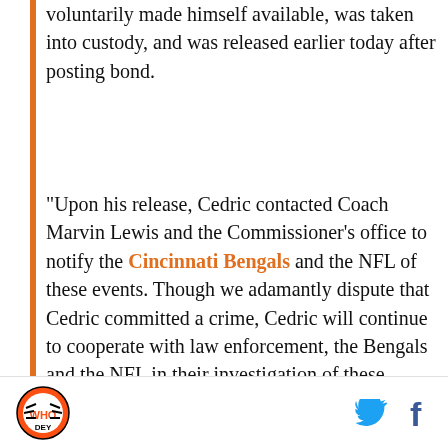voluntarily made himself available, was taken into custody, and was released earlier today after posting bond.
"Upon his release, Cedric contacted Coach Marvin Lewis and the Commissioner's office to notify the Cincinnati Bengals and the NFL of these events. Though we adamantly dispute that Cedric committed a crime, Cedric will continue to cooperate with law enforcement, the Bengals and the NFL in their investigation of these events."
[Figure (other): DraftKings Sportsbook advertisement widget with green header bar showing 'Bet Now!' button and DraftKings Sportsbook logo, white content area showing 'Ja'Marr Chase' in bold]
Cincinnati Bengals logo | Twitter icon | Facebook icon